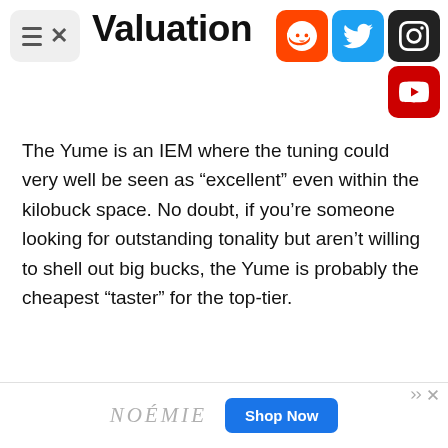Valuation
The Yume is an IEM where the tuning could very well be seen as “excellent” even within the kilobuck space. No doubt, if you’re someone looking for outstanding tonality but aren’t willing to shell out big bucks, the Yume is probably the cheapest “taster” for the top-tier.
[Figure (other): Advertisement banner for NOEMIE with a Shop Now button]